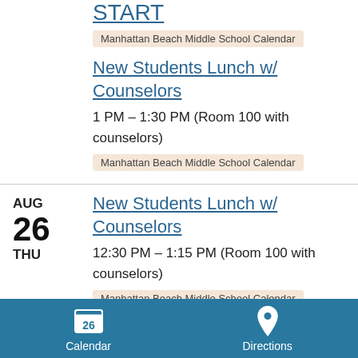START
Manhattan Beach Middle School Calendar
New Students Lunch w/ Counselors
1 PM – 1:30 PM (Room 100 with counselors)
Manhattan Beach Middle School Calendar
AUG 26 THU
New Students Lunch w/ Counselors
12:30 PM – 1:15 PM (Room 100 with counselors)
Manhattan Beach Middle School Calendar
AUG
New Students Lunch w/
Calendar | Directions